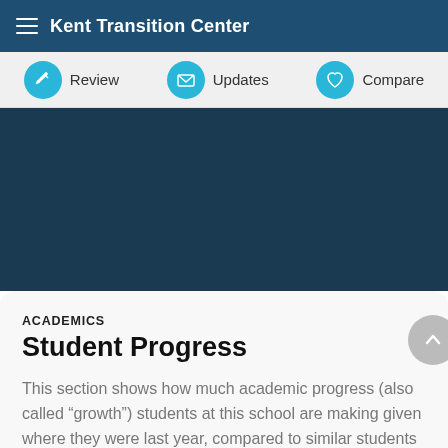Kent Transition Center
[Figure (infographic): Navigation icon row with Review, Updates, and Compare buttons with teal circular icons]
ACADEMICS
Student Progress
This section shows how much academic progress (also called “growth”) students at this school are making given where they were last year, compared to similar students in the state.